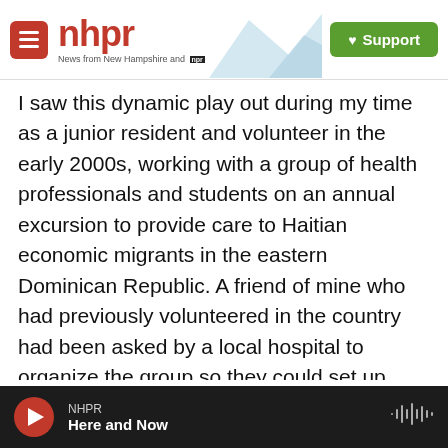nhpr — News from New Hampshire and NPR | Support
I saw this dynamic play out during my time as a junior resident and volunteer in the early 2000s, working with a group of health professionals and students on an annual excursion to provide care to Haitian economic migrants in the eastern Dominican Republic. A friend of mine who had previously volunteered in the country had been asked by a local hospital to organize the group so they could set up mobile clinics, using secondhand school buses to visit village schoolrooms and churches.
What I saw left me unsettled, leading to a decade
NHPR — Here and Now